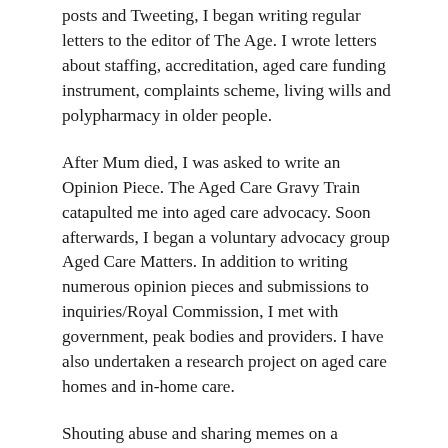posts and Tweeting, I began writing regular letters to the editor of The Age. I wrote letters about staffing, accreditation, aged care funding instrument, complaints scheme, living wills and polypharmacy in older people.
After Mum died, I was asked to write an Opinion Piece. The Aged Care Gravy Train catapulted me into aged care advocacy. Soon afterwards, I began a voluntary advocacy group Aged Care Matters. In addition to writing numerous opinion pieces and submissions to inquiries/Royal Commission, I met with government, peak bodies and providers. I have also undertaken a research project on aged care homes and in-home care.
Shouting abuse and sharing memes on a Facebook or Twitter does nothing to help older people. It may make the poster/tweeter feel powerful, but it is just loud noise. In my view, the aged care sector will improve when residents, relatives, staff, providers, bureaucrats and politicians collaborate to ensure older people in aged care homes and in-home care have the best possible quality of life. Engaging